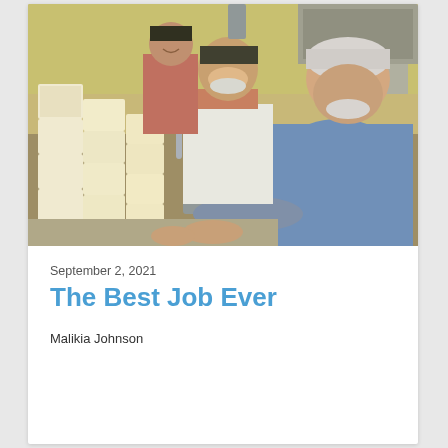[Figure (photo): Kitchen scene with elderly man in blue shirt leaning over a counter stacking or handling white blocks of cheese/food. Another man in a white apron and a younger person are working in the background in a commercial kitchen.]
September 2, 2021
The Best Job Ever
Malikia Johnson